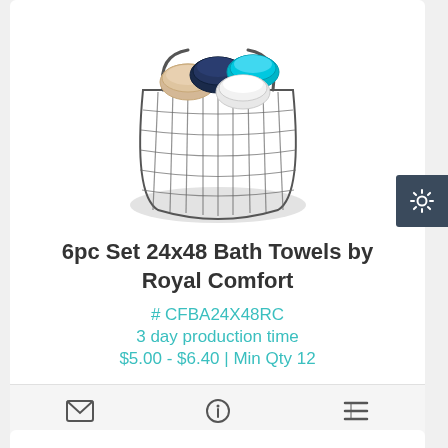[Figure (photo): Wire basket containing rolled bath towels in beige, navy blue, white, and teal colors]
6pc Set 24x48 Bath Towels by Royal Comfort
# CFBA24X48RC
3 day production time
$5.00 - $6.40 | Min Qty 12
[Figure (photo): Rolled bath towels in navy, white, and burgundy colors stacked together (partial view)]